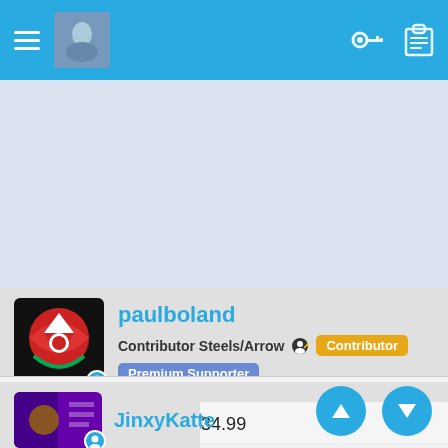Navigation bar with hamburger menu, avatar, key icon, clipboard icon
[Figure (other): Advertisement banner area, light blue-grey background]
paulboland
Contributor Steels/Arrow  Contributor  Premium Supporter
Feb 11, 2022  #4
Amazon UK now also £34.99
↩ Reply
JinxyKatte